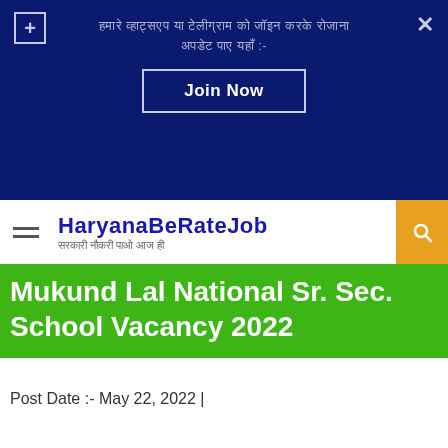[Figure (screenshot): Dark blue notification banner with Hindi text, Join Now button, close and plus icons]
HaryanaBeRateJob
Mukund Lal National Sr. Sec. School Vacancy 2022
Post Date :- May 22, 2022 |